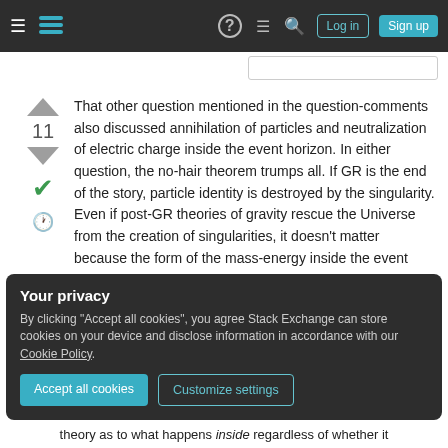Stack Exchange navigation bar with hamburger menu, logo, help, chat, search icons, Log in and Sign up buttons
That other question mentioned in the question-comments also discussed annihilation of particles and neutralization of electric charge inside the event horizon. In either question, the no-hair theorem trumps all. If GR is the end of the story, particle identity is destroyed by the singularity. Even if post-GR theories of gravity rescue the Universe from the creation of singularities, it doesn't matter because the form of the mass-energy inside the event horizon doesn't matter to the outside world.
Your privacy
By clicking "Accept all cookies", you agree Stack Exchange can store cookies on your device and disclose information in accordance with our Cookie Policy.
theory as to what happens inside regardless of whether it